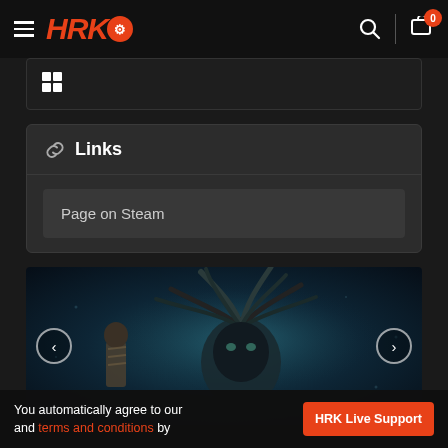HRK Game Store navigation bar with logo, search, and cart (0 items)
[Figure (screenshot): Windows platform icon in a dark box]
Links
Page on Steam
[Figure (illustration): Dark fantasy game screenshot showing a creature with large antler-like tendrils facing an armored character, in a teal/dark underwater environment. Left and right navigation arrows visible.]
You automatically agree to our and terms and conditions by